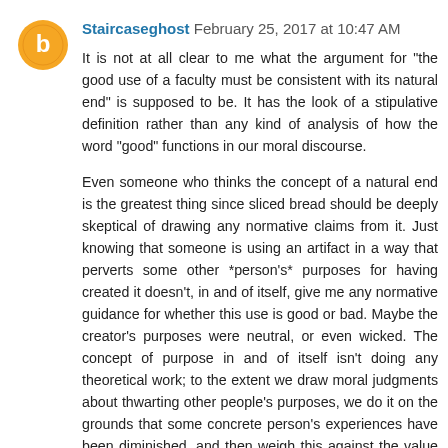Staircaseghost February 25, 2017 at 10:47 AM
It is not at all clear to me what the argument for "the good use of a faculty must be consistent with its natural end" is supposed to be. It has the look of a stipulative definition rather than any kind of analysis of how the word "good" functions in our moral discourse.
Even someone who thinks the concept of a natural end is the greatest thing since sliced bread should be deeply skeptical of drawing any normative claims from it. Just knowing that someone is using an artifact in a way that perverts some other *person's* purposes for having created it doesn't, in and of itself, give me any normative guidance for whether this use is good or bad. Maybe the creator's purposes were neutral, or even wicked. The concept of purpose in and of itself isn't doing any theoretical work; to the extent we draw moral judgments about thwarting other people's purposes, we do it on the grounds that some concrete person's experiences have been diminished, and then weigh this against the value we place on others' rights